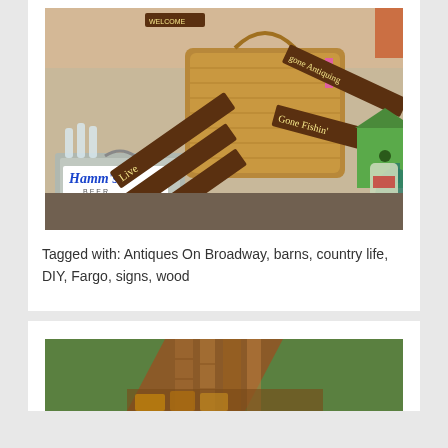[Figure (photo): Photo of antique items including rustic wooden signs reading 'Live Love Garden', 'gone Antiquing', 'Gone Fishin'', a Hamm's Beer cooler, wicker baskets, glass bottles, and a green birdhouse]
Tagged with: Antiques On Broadway, barns, country life, DIY, Fargo, signs, wood
[Figure (photo): Partial photo showing interior of what appears to be a wooden structure with brown/reddish wood tones]